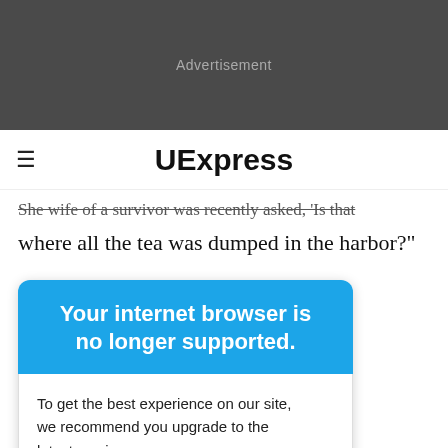[Figure (screenshot): Dark gray advertisement banner placeholder with 'Advertisement' text centered in gray]
UExpress
She wife of a survivor was recently asked, 'Is that where all the tea was dumped in the harbor?'
[Figure (screenshot): Blue modal overlay: 'Your internet browser is no longer supported. To get the best experience on our site, we recommend you upgrade to the latest version.']
bute to those ou will y. -- JEAN emember